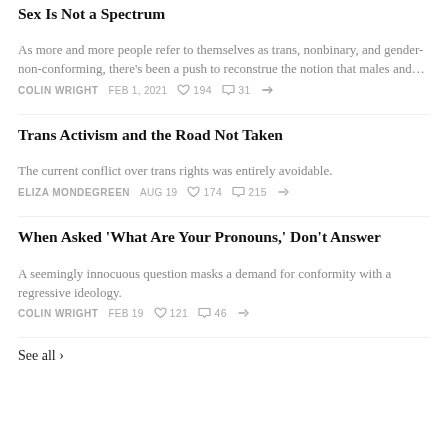Sex Is Not a Spectrum
As more and more people refer to themselves as trans, nonbinary, and gender-non-conforming, there’s been a push to reconstrue the notion that males and…
COLIN WRIGHT   FEB 1, 2021   ♥ 194   💬 31   ➣
Trans Activism and the Road Not Taken
The current conflict over trans rights was entirely avoidable.
ELIZA MONDEGREEN   AUG 19   ♥ 174   💬 215   ➣
When Asked ‘What Are Your Pronouns,’ Don’t Answer
A seemingly innocuous question masks a demand for conformity with a regressive ideology.
COLIN WRIGHT   FEB 19   ♥ 121   💬 46   ➣
See all ›